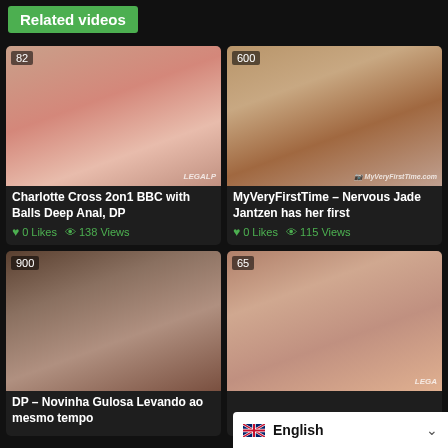Related videos
[Figure (photo): Video thumbnail with badge '82' and watermark 'LEGALP']
Charlotte Cross 2on1 BBC with Balls Deep Anal, DP
0 Likes  138 Views
[Figure (photo): Video thumbnail with badge '600' and watermark 'MyVeryFirstTime.com']
MyVeryFirstTime – Nervous Jade Jantzen has her first
0 Likes  115 Views
[Figure (photo): Video thumbnail with badge '900']
DP – Novinha Gulosa Levando ao mesmo tempo
[Figure (photo): Video thumbnail with badge '65' and watermark 'LEGA']
English